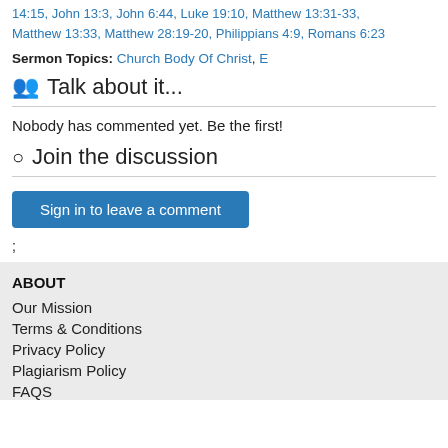14:15, John 13:3, John 6:44, Luke 19:10, Matthew 13:31-33, Matthew 13:33, Matthew 28:19-20, Philippians 4:9, Romans 6:23
Sermon Topics: Church Body Of Christ, E
Talk about it...
Nobody has commented yet. Be the first!
Join the discussion
Sign in to leave a comment
;
ABOUT
Our Mission
Terms & Conditions
Privacy Policy
Plagiarism Policy
FAQS